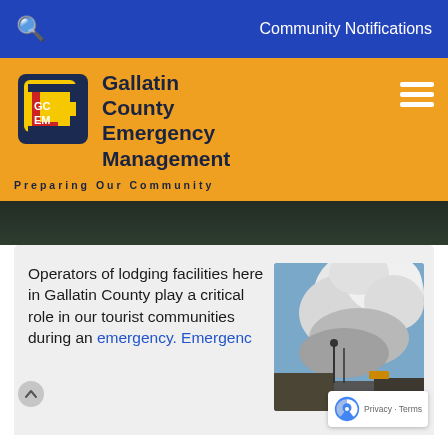Community Notifications
[Figure (logo): Gallatin County Emergency Management (GCEM) logo with orange header bar, hamburger menu. Tagline: Preparing Our Community]
[Figure (photo): Dark green tree/forest hero banner image]
Operators of lodging facilities here in Gallatin County play a critical role in our tourist communities during an emergency. Emergency...
[Figure (photo): Photo of smoke cloud from wildfire with street and buildings in foreground]
[Figure (other): reCAPTCHA badge with Privacy and Terms links]